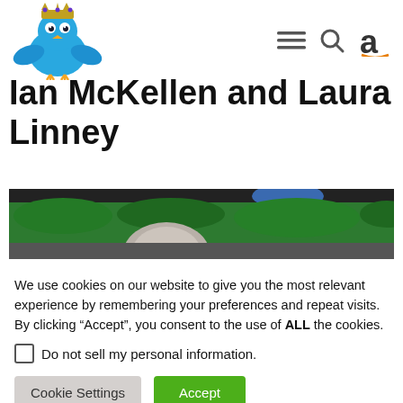[Figure (logo): Blue cartoon bird with crown (Twitter-style bird logo)]
[Figure (infographic): Navigation icons: hamburger menu, search magnifier, Amazon 'a' logo]
Ian McKellen and Laura Linney
[Figure (photo): Photo showing tops of heads against green hedge/bushes background, dark sky above]
We use cookies on our website to give you the most relevant experience by remembering your preferences and repeat visits. By clicking “Accept”, you consent to the use of ALL the cookies.
Do not sell my personal information.
Cookie Settings
Accept